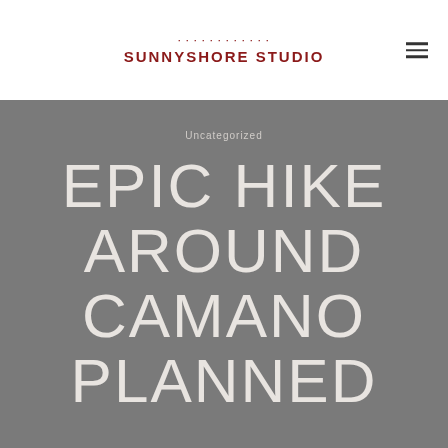SUNNYSHORE STUDIO
Uncategorized
EPIC HIKE AROUND CAMANO PLANNED